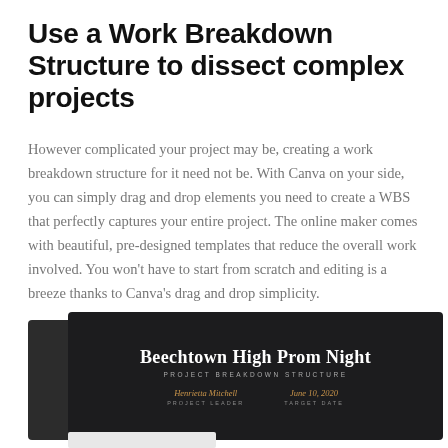Use a Work Breakdown Structure to dissect complex projects
However complicated your project may be, creating a work breakdown structure for it need not be. With Canva on your side, you can simply drag and drop elements you need to create a WBS that perfectly captures your entire project. The online maker comes with beautiful, pre-designed templates that reduce the overall work involved. You won't have to start from scratch and editing is a breeze thanks to Canva's drag and drop simplicity.
[Figure (screenshot): A dark-themed work breakdown structure template card showing 'Beechtown High Prom Night' with subtitle 'PROJECT BREAKDOWN STRUCTURE', project leader 'Henrietta Mitchell', and target date 'June 10, 2020'.]